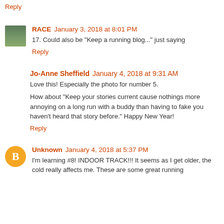Reply
RACE  January 3, 2018 at 8:01 PM
17. Could also be "Keep a running blog..." just saying
Reply
Jo-Anne Sheffield  January 4, 2018 at 9:31 AM
Love this! Especially the photo for number 5.
How about "Keep your stories current cause nothings more annoying on a long run with a buddy than having to fake you haven't heard that story before." Happy New Year!
Reply
Unknown  January 4, 2018 at 5:37 PM
I'm learning #8! INDOOR TRACK!!! It seems as I get older, the cold really affects me. These are some great running